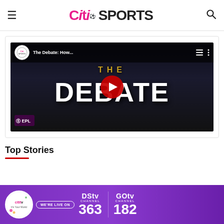Citi SPORTS
[Figure (screenshot): YouTube video thumbnail for 'The Debate: How...' by Citi Sports channel, showing 'THE DEBATE' title text on a dark background with a red play button overlay.]
Top Stories
[Figure (infographic): Advertisement banner: Citi TV - WE'RE LIVE ON - DStv Channel 363 / GOtv Channel 182, purple background.]